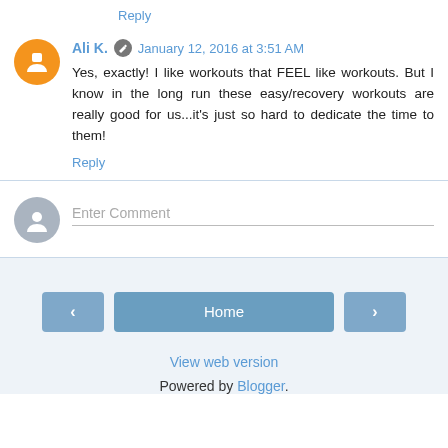Reply
Ali K.  January 12, 2016 at 3:51 AM
Yes, exactly! I like workouts that FEEL like workouts. But I know in the long run these easy/recovery workouts are really good for us...it's just so hard to dedicate the time to them!
Reply
Enter Comment
Home
View web version
Powered by Blogger.